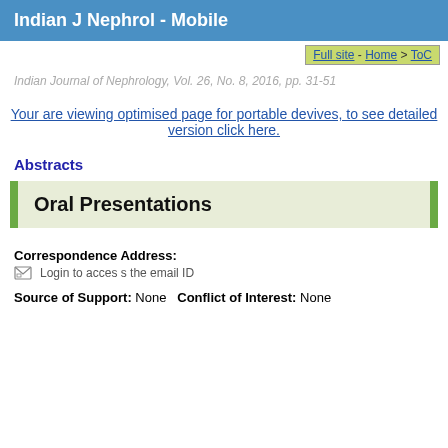Indian J Nephrol - Mobile
Full site - Home > ToC
Indian Journal of Nephrology, Vol. 26, No. 8, 2016, pp. 31-51
Your are viewing optimised page for portable devives, to see detailed version click here.
Abstracts
Oral Presentations
Correspondence Address:
Login to access the email ID
Source of Support: None   Conflict of Interest: None